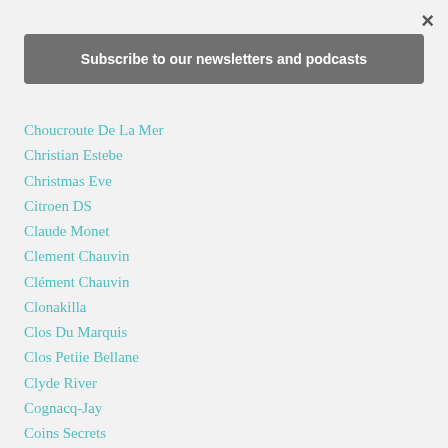×
Subscribe to our newsletters and podcasts
Choucroute De La Mer
Christian Estebe
Christmas Eve
Citroen DS
Claude Monet
Clement Chauvin
Clément Chauvin
Clonakilla
Clos Du Marquis
Clos Petiie Bellane
Clyde River
Cognacq-Jay
Coins Secrets
Colin Fassnidge
Commissary Kitchen
Comté
Confit De Canard